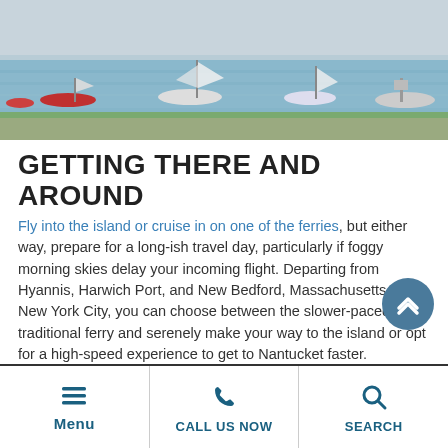[Figure (photo): Aerial/harbor view of Nantucket with sailboats and small boats on calm water, green shoreline in background]
GETTING THERE AND AROUND
Fly into the island or cruise in on one of the ferries, but either way, prepare for a long-ish travel day, particularly if foggy morning skies delay your incoming flight. Departing from Hyannis, Harwich Port, and New Bedford, Massachusetts or New York City, you can choose between the slower-paced traditional ferry and serenely make your way to the island or opt for a high-speed experience to get to Nantucket faster.
Menu | CALL US NOW | SEARCH